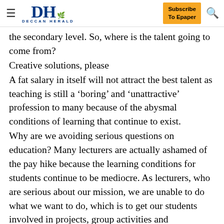DH DECCAN HERALD | Subscribe To Epaper
the secondary level. So, where is the talent going to come from?
Creative solutions, please
A fat salary in itself will not attract the best talent as teaching is still a ‘boring’ and ‘unattractive’ profession to many because of the abysmal conditions of learning that continue to exist.
Why are we avoiding serious questions on education? Many lecturers are actually ashamed of the pay hike because the learning conditions for students continue to be mediocre. As lecturers, who are serious about our mission, we are unable to do what we want to do, which is to get our students involved in projects, group activities and dissertation work instead of watching quietly as they cram for examinations. Instead of spending energy debating the pay hike, we need